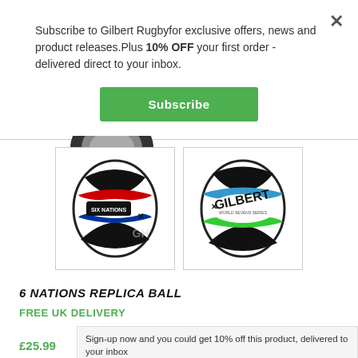Subscribe to Gilbert Rugbyfor exclusive offers, news and product releases.Plus 10% OFF your first order - delivered direct to your inbox.
Subscribe
[Figure (photo): Partial view of bottom of a rugby ball (black and grey), visible at the top of the product area below the modal divider.]
[Figure (photo): Six Nations Replica rugby ball with red, blue and black markings and SIX NATIONS text, shown in a bordered thumbnail.]
[Figure (photo): Gilbert rugby ball with black, white and green markings and GILBERT text, shown in a bordered thumbnail.]
6 NATIONS REPLICA BALL
FREE UK DELIVERY
£25.99
Sign-up now and you could get 10% off this product, delivered to your inbox